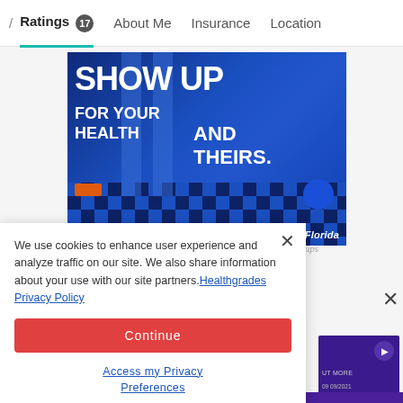/ Ratings 17   About Me   Insurance   Location
[Figure (photo): Health advertisement showing a woman doing push-ups with a child on her back in a blue gym. Text reads 'SHOW UP FOR YOUR HEALTH AND THEIRS.' with HCA Florida branding.]
We use cookies to enhance user experience and analyze traffic on our site. We also share information about your use with our site partners. Healthgrades Privacy Policy
Continue
Access my Privacy Preferences